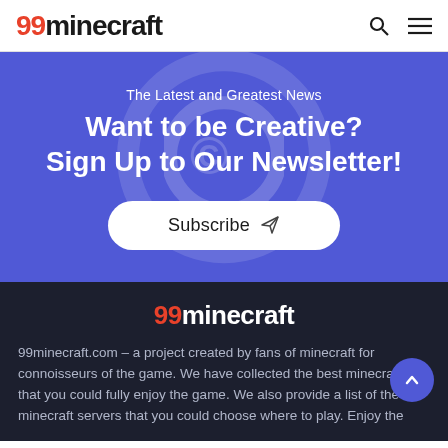99minecraft
The Latest and Greatest News
Want to be Creative?
Sign Up to Our Newsletter!
Subscribe
99minecraft
99minecraft.com – a project created by fans of minecraft for connoisseurs of the game. We have collected the best minecrafts that you could fully enjoy the game. We also provide a list of the best minecraft servers that you could choose where to play. Enjoy the game!